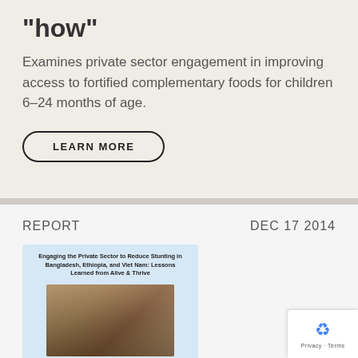“how”
Examines private sector engagement in improving access to fortified complementary foods for children 6–24 months of age.
LEARN MORE
REPORT
DEC 17 2014
[Figure (photo): Cover of report titled 'Engaging the Private Sector to Reduce Stunting in Bangladesh, Ethiopia, and Viet Nam: Lessons Learned from Alive & Thrive', showing a woman and child at a market stall]